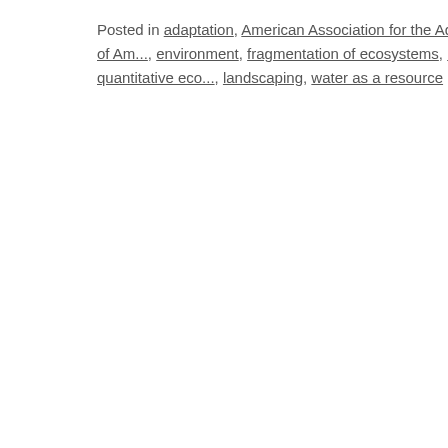Posted in adaptation, American Association for the Advancement of Science, complex systems, conservation, ecological services, Ecological Society of America, environment, fragmentation of ecosystems, invasive species, land use to fight climate change, population biology, population dynamics, quantitative biology, quantitative ecology, landscaping, water as a resource | 4 Comments